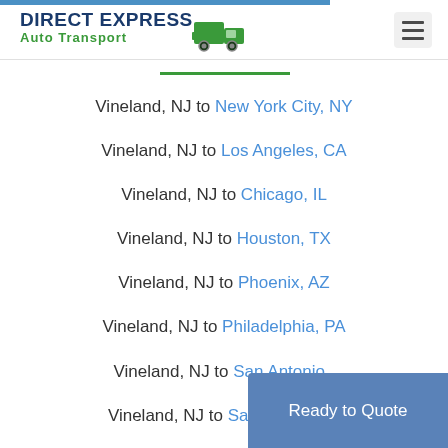DIRECT EXPRESS Auto Transport
Vineland, NJ to New York City, NY
Vineland, NJ to Los Angeles, CA
Vineland, NJ to Chicago, IL
Vineland, NJ to Houston, TX
Vineland, NJ to Phoenix, AZ
Vineland, NJ to Philadelphia, PA
Vineland, NJ to San Antonio, TX
Vineland, NJ to San Diego, CA
Vineland, NJ to Dallas, TX
Ready to Quote